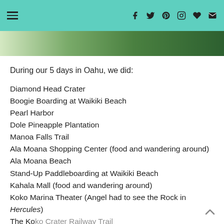Navigation and social icons header bar
[Figure (photo): Partial photo strip showing green foliage and a sign at top of page]
During our 5 days in Oahu, we did:
Diamond Head Crater
Boogie Boarding at Waikiki Beach
Pearl Harbor
Dole Pineapple Plantation
Manoa Falls Trail
Ala Moana Shopping Center (food and wandering around)
Ala Moana Beach
Stand-Up Paddleboarding at Waikiki Beach
Kahala Mall (food and wandering around)
Koko Marina Theater (Angel had to see the Rock in Hercules)
The Koko Crater Railway Trail